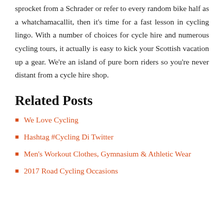sprocket from a Schrader or refer to every random bike half as a whatchamacallit, then it's time for a fast lesson in cycling lingo. With a number of choices for cycle hire and numerous cycling tours, it actually is easy to kick your Scottish vacation up a gear. We're an island of pure born riders so you're never distant from a cycle hire shop.
Related Posts
We Love Cycling
Hashtag #Cycling Di Twitter
Men's Workout Clothes, Gymnasium & Athletic Wear
2017 Road Cycling Occasions